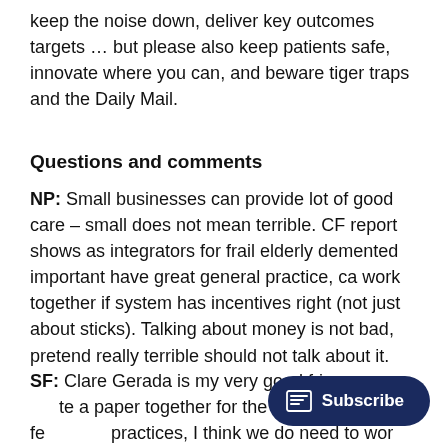keep the noise down, deliver key outcomes targets … but please also keep patients safe, innovate where you can, and beware tiger traps and the Daily Mail.
Questions and comments
NP: Small businesses can provide lot of good care – small does not mean terrible. CF report shows as integrators for frail elderly demented important have great general practice, ca work together if system has incentives right (not just about sticks). Talking about money is not bad, pretend really terrible should not talk about it.
SF: Clare Gerada is my very good friend we wrote a paper together for the RCGP on fe practices, I think we do need to work into that. I also admire what she does in her own practices, she's the